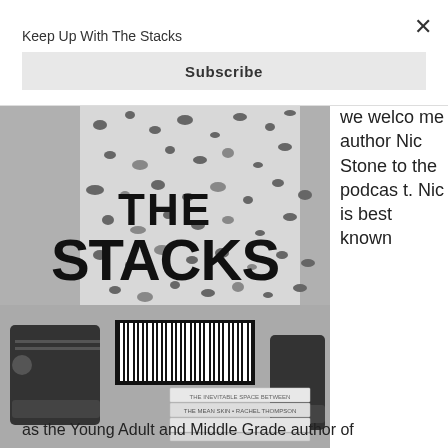Keep Up With The Stacks
Subscribe
[Figure (photo): The Stacks podcast logo/image showing a person wearing black and white patterned clothing and Converse sneakers, with THE STACKS logo text overlaid and stacked books at the bottom]
we welcome author Nic Stone to the podcast. Nic is best known
as the Young Adult and Middle Grade author of